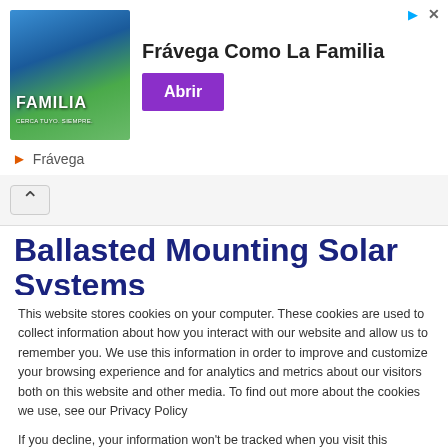[Figure (advertisement): Frávega Como La Familia advertisement banner with family photo and purple Abrir button]
Frávega
Ballasted Mounting Solar Systems
This website stores cookies on your computer. These cookies are used to collect information about how you interact with our website and allow us to remember you. We use this information in order to improve and customize your browsing experience and for analytics and metrics about our visitors both on this website and other media. To find out more about the cookies we use, see our Privacy Policy
If you decline, your information won't be tracked when you visit this website. A single cookie will be used in your browser to remember your preference not to be tracked.
Accept
Decline